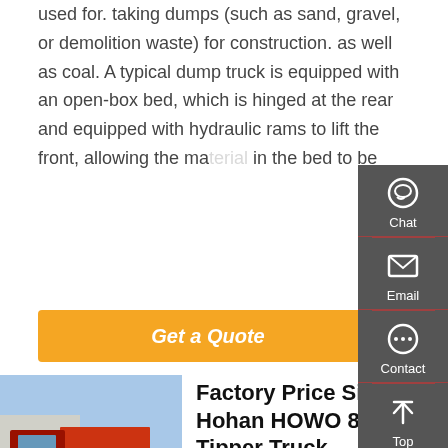used for. taking dumps (such as sand, gravel, or demolition waste) for construction. as well as coal. A typical dump truck is equipped with an open-box bed, which is hinged at the rear and equipped with hydraulic rams to lift the front, allowing the material in the bed to be
[Figure (other): Orange 'Get a Quote' button]
[Figure (photo): Red Sinotruk Hohan HOWO tipper truck parked outdoors]
Factory Price Sinotruk Hohan HOWO 8tons 10t Tipper Truck
[Figure (other): Sidebar with Chat, Email, Contact, and Top navigation items]